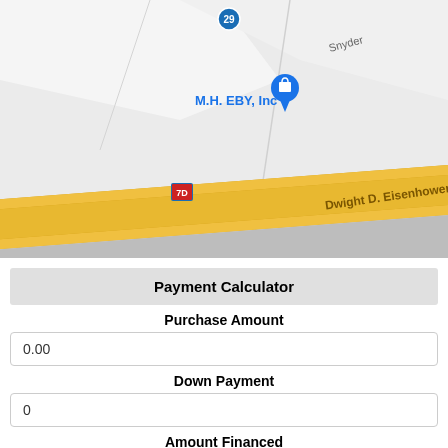[Figure (map): Google Maps screenshot showing M.H. EBY, Inc location marker near Dwight D. Eisenhower Hwy (Route 70). Map shows roads including Snyder road, a highway shield for 7D, and yellow highway bands running diagonally across the bottom of the map.]
Payment Calculator
Purchase Amount
0.00
Down Payment
0
Amount Financed